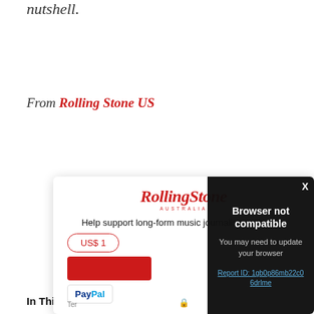nutshell.
From Rolling Stone US
[Figure (screenshot): Rolling Stone Australia tipping widget overlaid by a 'Browser not compatible' modal dialog. The widget shows the Rolling Stone logo, text 'Help support long-form music journalism with a tip:', a US$ 1 input field, a red button, and a PayPal option. The modal overlay on the right shows 'Browser not compatible', 'You may need to update your browser', and a Report ID link '1gb0p86mb22c06drlme'. An X close button is in the top-right corner.]
In This Article: Oscars, The Godfather